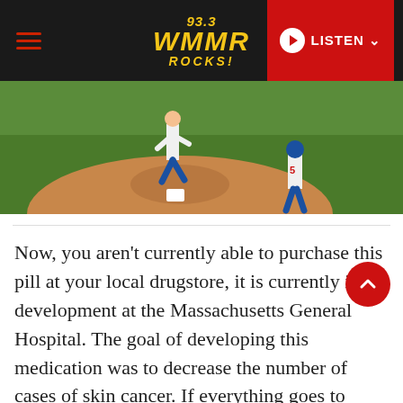93.3 WMMR ROCKS! | LISTEN
[Figure (photo): Baseball game scene showing a pitcher on the mound and a batter/player wearing jersey number 5 on a green grass field with a dirt infield mound.]
Now, you aren't currently able to purchase this pill at your local drugstore, it is currently in development at the Massachusetts General Hospital. The goal of developing this medication was to decrease the number of cases of skin cancer. If everything goes to plan, this pill will become the safest way to tan.